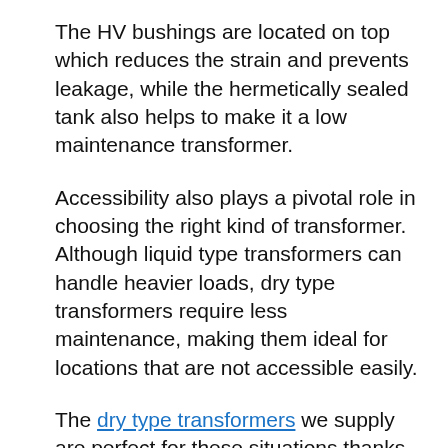The HV bushings are located on top which reduces the strain and prevents leakage, while the hermetically sealed tank also helps to make it a low maintenance transformer.
Accessibility also plays a pivotal role in choosing the right kind of transformer. Although liquid type transformers can handle heavier loads, dry type transformers require less maintenance, making them ideal for locations that are not accessible easily.
The dry type transformers we supply are perfect for these situations thanks to the maintenance-free windings that are embedded in moisture-proof, fire-resistant, self-extinguishing material that make them durable against hot climates like in Perth. Furthermore, they can handle up to a 30% increase in power due to forced air cooling making it a worthy investment for any project.